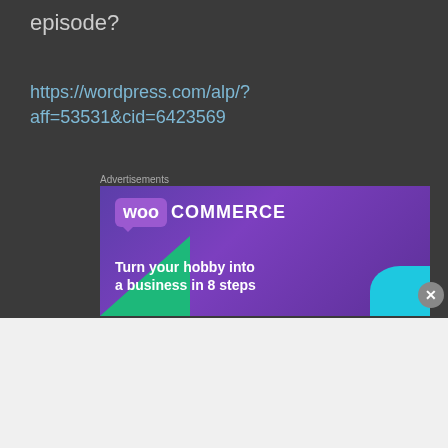episode?
https://wordpress.com/alp/?aff=53531&cid=6423569
Advertisements
[Figure (screenshot): WooCommerce advertisement banner with dark purple gradient background, green triangular shape on lower left, cyan shape on lower right, WooCommerce logo at top, and tagline 'Turn your hobby into a business in 8 steps']
Advertisements
[Figure (screenshot): Victoria's Secret advertisement banner on pink gradient background with model on left, VS logo, and 'SHOP THE COLLECTION' text with 'SHOP NOW' button]